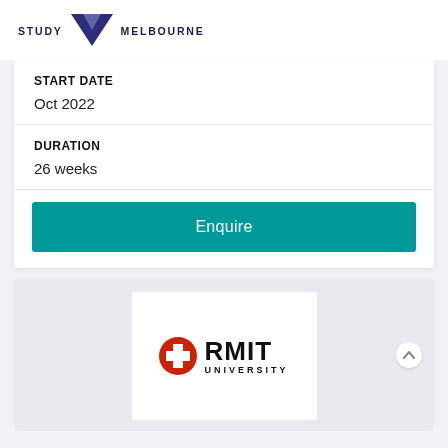STUDY MELBOURNE
START DATE
Oct 2022
DURATION
26 weeks
Enquire
[Figure (logo): RMIT University logo with red cross/plus icon and RMIT UNIVERSITY text]